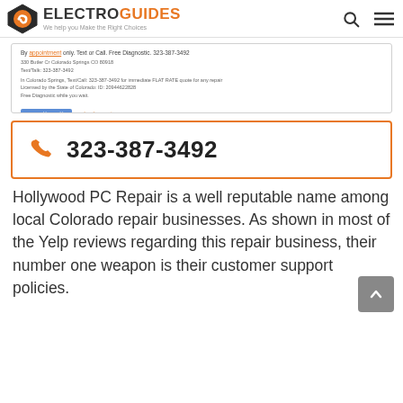ELECTROGUIDES - We help you Make the Right Choices
[Figure (screenshot): Screenshot of a repair shop website showing appointment info, address, and Weebly button]
323-387-3492
Hollywood PC Repair is a well reputable name among local Colorado repair businesses. As shown in most of the Yelp reviews regarding this repair business, their number one weapon is their customer support policies.